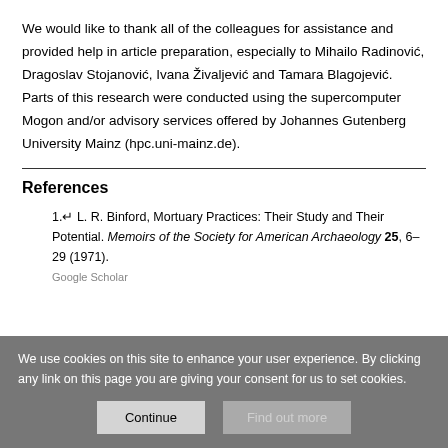We would like to thank all of the colleagues for assistance and provided help in article preparation, especially to Mihailo Radinović, Dragoslav Stojanović, Ivana Živaljević and Tamara Blagojević. Parts of this research were conducted using the supercomputer Mogon and/or advisory services offered by Johannes Gutenberg University Mainz (hpc.uni-mainz.de).
References
1. L. R. Binford, Mortuary Practices: Their Study and Their Potential. Memoirs of the Society for American Archaeology 25, 6–29 (1971). Google Scholar
We use cookies on this site to enhance your user experience. By clicking any link on this page you are giving your consent for us to set cookies.